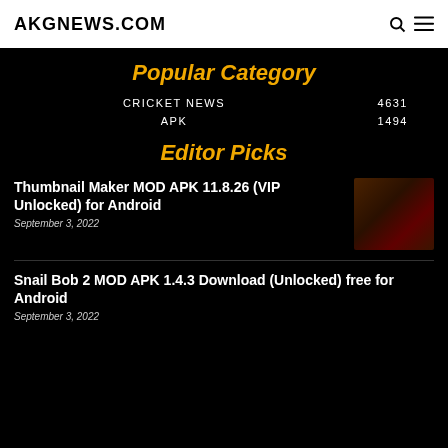AKGNEWS.COM
Popular Category
CRICKET NEWS  4631
APK  1494
Editor Picks
Thumbnail Maker MOD APK 11.8.26 (VIP Unlocked) for Android
September 3, 2022
[Figure (photo): Thumbnail image for Thumbnail Maker MOD APK article, dark reddish-brown tones]
Snail Bob 2 MOD APK 1.4.3 Download (Unlocked) free for Android
September 3, 2022